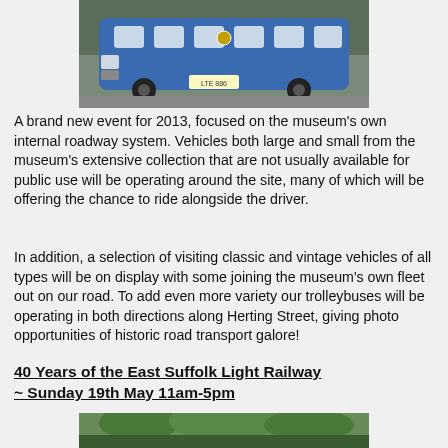[Figure (photo): Front view of a blue vintage bus/coach parked outdoors]
A brand new event for 2013, focused on the museum's own internal roadway system. Vehicles both large and small from the museum's extensive collection that are not usually available for public use will be operating around the site, many of which will be offering the chance to ride alongside the driver.
In addition, a selection of visiting classic and vintage vehicles of all types will be on display with some joining the museum's own fleet out on our road. To add even more variety our trolleybuses will be operating in both directions along Herting Street, giving photo opportunities of historic road transport galore!
40 Years of the East Suffolk Light Railway ~ Sunday 19th May 11am-5pm
[Figure (photo): Partial photo of trees/outdoor scene, bottom of page]